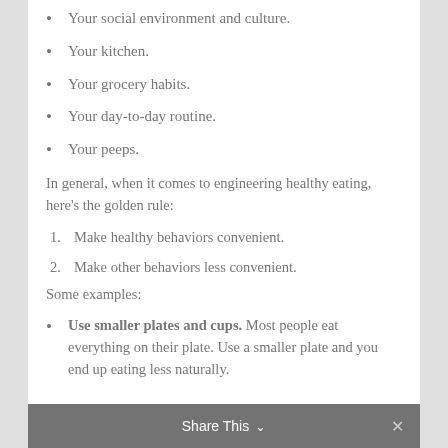Your social environment and culture.
Your kitchen.
Your grocery habits.
Your day-to-day routine.
Your peeps.
In general, when it comes to engineering healthy eating, here's the golden rule:
1. Make healthy behaviors convenient.
2. Make other behaviors less convenient.
Some examples:
Use smaller plates and cups. Most people eat everything on their plate. Use a smaller plate and you end up eating less naturally.
Share This  ×